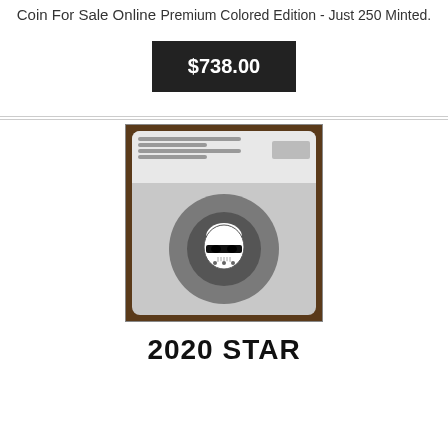Coin For Sale Online
Premium Colored Edition - Just 250 Minted.
$738.00
[Figure (photo): Photo of a Stormtrooper helmet colored coin in an NGC slab holder, shown in a brown display case.]
2020 STAR